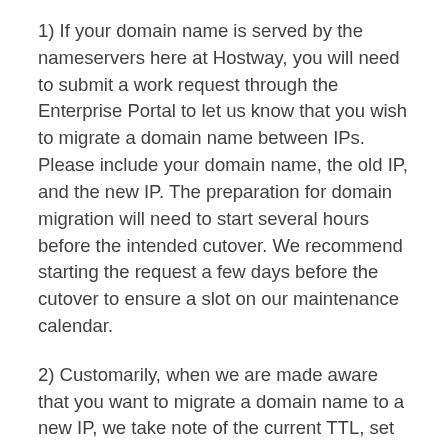1) If your domain name is served by the nameservers here at Hostway, you will need to submit a work request through the Enterprise Portal to let us know that you wish to migrate a domain name between IPs. Please include your domain name, the old IP, and the new IP. The preparation for domain migration will need to start several hours before the intended cutover. We recommend starting the request a few days before the cutover to ensure a slot on our maintenance calendar.
2) Customarily, when we are made aware that you want to migrate a domain name to a new IP, we take note of the current TTL, set the TTL to 300 seconds (5 minutes), and request that you schedule a maintenance window at some point after the old TTL is to expire. This maintenance window is the cutover.
3) During the maintenance, we will update the DNS entry in our nameservers to the new IP. After 5 minutes, the entire